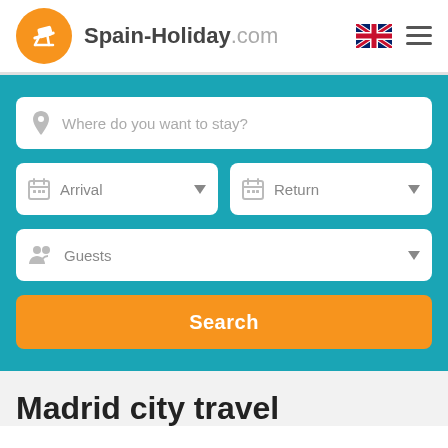[Figure (logo): Spain-Holiday.com logo with orange circle containing beach chair icon and text]
[Figure (illustration): UK flag icon and hamburger menu icon in top right]
[Figure (screenshot): Teal search box section with location input 'Where do you want to stay?', Arrival and Return date pickers, Guests selector, and orange Search button]
Madrid city travel